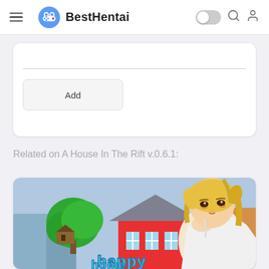BestHentai
Add
Related on A House In The Rift v.0.6.1:
[Figure (illustration): Game cover art for Happy Home showing an anime-style blonde girl and a cartoon house with a green tree, with 'Happy Home' text at the bottom]